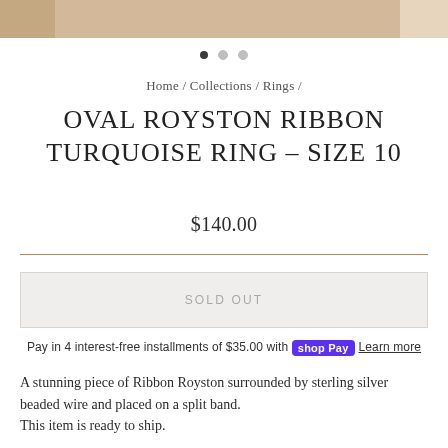[Figure (photo): Partial product image strip showing a ring on a hand, cropped at top of page]
Home / Collections / Rings /
OVAL ROYSTON RIBBON TURQUOISE RING – SIZE 10
$140.00
SOLD OUT
Pay in 4 interest-free installments of $35.00 with Shop Pay  Learn more
A stunning piece of Ribbon Royston surrounded by sterling silver beaded wire and placed on a split band.
This item is ready to ship.